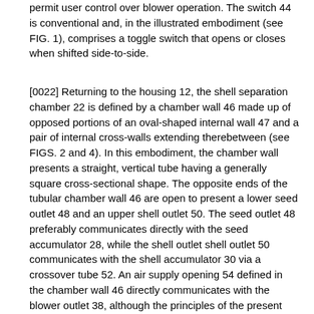permit user control over blower operation. The switch 44 is conventional and, in the illustrated embodiment (see FIG. 1), comprises a toggle switch that opens or closes when shifted side-to-side.
[0022] Returning to the housing 12, the shell separation chamber 22 is defined by a chamber wall 46 made up of opposed portions of an oval-shaped internal wall 47 and a pair of internal cross-walls extending therebetween (see FIGS. 2 and 4). In this embodiment, the chamber wall presents a straight, vertical tube having a generally square cross-sectional shape. The opposite ends of the tubular chamber wall 46 are open to present a lower seed outlet 48 and an upper shell outlet 50. The seed outlet 48 preferably communicates directly with the seed accumulator 28, while the shell outlet shell outlet 50 communicates with the shell accumulator 30 via a crossover tube 52. An air supply opening 54 defined in the chamber wall 46 directly communicates with the blower outlet 38, although the principles of the present invention are equally applicable to an air supply opening that is spaced from the blower outlet such that a conduit is required to intercommunicate the two. In fact, the blower assembly need not be contained within the housing 12 as illustrated, but rather the blower may, for example, alternatively be separate from the housing and be provided with a hose that is removably connected to the housing during separator operation. It if further noted that the air supply opening 54 is preferably downstream (relative to the desired direction of airflow) or spaced upwardly from the region that 46 will extend to below on the calculation of the